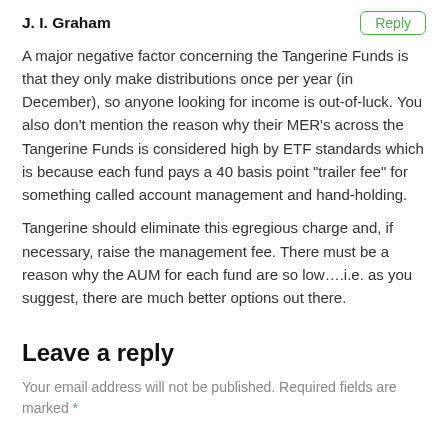J. I. Graham
A major negative factor concerning the Tangerine Funds is that they only make distributions once per year (in December), so anyone looking for income is out-of-luck. You also don't mention the reason why their MER's across the Tangerine Funds is considered high by ETF standards which is because each fund pays a 40 basis point "trailer fee" for something called account management and hand-holding.
Tangerine should eliminate this egregious charge and, if necessary, raise the management fee. There must be a reason why the AUM for each fund are so low….i.e. as you suggest, there are much better options out there.
Leave a reply
Your email address will not be published. Required fields are marked *